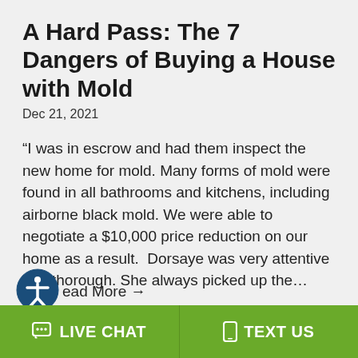A Hard Pass: The 7 Dangers of Buying a House with Mold
Dec 21, 2021
“I was in escrow and had them inspect the new home for mold. Many forms of mold were found in all bathrooms and kitchens, including airborne black mold. We were able to negotiate a $10,000 price reduction on our home as a result.  Dorsaye was very attentive and thorough. She always picked up the…
ead More →
LIVE CHAT   TEXT US